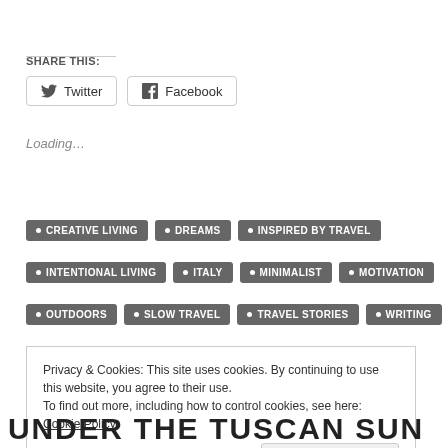SHARE THIS:
Twitter
Facebook
Loading...
CREATIVE LIVING
DREAMS
INSPIRED BY TRAVEL
INTENTIONAL LIVING
ITALY
MINIMALIST
MOTIVATION
OUTDOORS
SLOW TRAVEL
TRAVEL STORIES
WRITING
Privacy & Cookies: This site uses cookies. By continuing to use this website, you agree to their use.
To find out more, including how to control cookies, see here: Cookie Policy
Close and accept
UNDER THE TUSCAN SUN